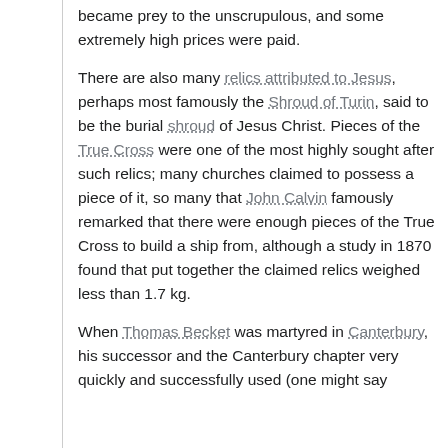became prey to the unscrupulous, and some extremely high prices were paid.
There are also many relics attributed to Jesus, perhaps most famously the Shroud of Turin, said to be the burial shroud of Jesus Christ. Pieces of the True Cross were one of the most highly sought after such relics; many churches claimed to possess a piece of it, so many that John Calvin famously remarked that there were enough pieces of the True Cross to build a ship from, although a study in 1870 found that put together the claimed relics weighed less than 1.7 kg.
When Thomas Becket was martyred in Canterbury, his successor and the Canterbury chapter very quickly and successfully used (one might say